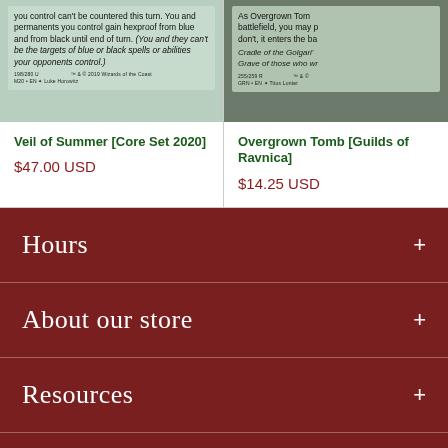[Figure (photo): Magic: The Gathering card image for Veil of Summer showing card text area with ability text]
Veil of Summer [Core Set 2020]
$47.00 USD
[Figure (photo): Magic: The Gathering card image for Overgrown Tomb showing partial card text area]
Overgrown Tomb [Guilds of Ravnica]
$14.25 USD
Hours
About our store
Resources